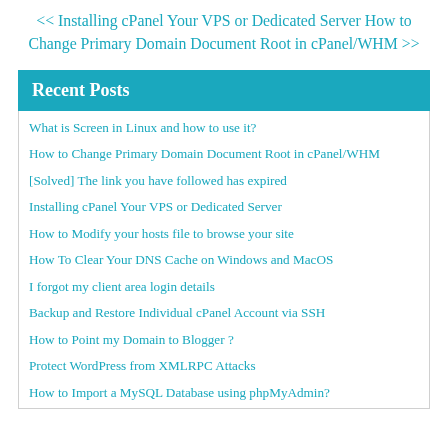<< Installing cPanel Your VPS or Dedicated Server How to Change Primary Domain Document Root in cPanel/WHM >>
Recent Posts
What is Screen in Linux and how to use it?
How to Change Primary Domain Document Root in cPanel/WHM
[Solved] The link you have followed has expired
Installing cPanel Your VPS or Dedicated Server
How to Modify your hosts file to browse your site
How To Clear Your DNS Cache on Windows and MacOS
I forgot my client area login details
Backup and Restore Individual cPanel Account via SSH
How to Point my Domain to Blogger ?
Protect WordPress from XMLRPC Attacks
How to Import a MySQL Database using phpMyAdmin?